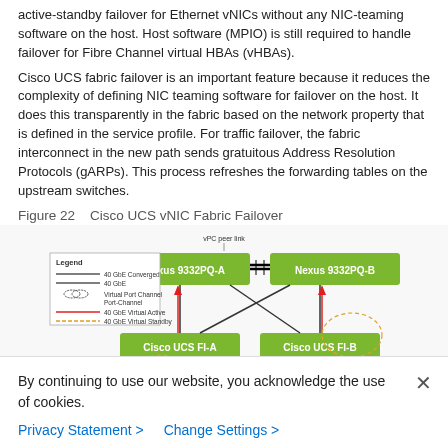active-standby failover for Ethernet vNICs without any NIC-teaming software on the host. Host software (MPIO) is still required to handle failover for Fibre Channel virtual HBAs (vHBAs).
Cisco UCS fabric failover is an important feature because it reduces the complexity of defining NIC teaming software for failover on the host. It does this transparently in the fabric based on the network property that is defined in the service profile. For traffic failover, the fabric interconnect in the new path sends gratuitous Address Resolution Protocols (gARPs). This process refreshes the forwarding tables on the upstream switches.
Figure 22    Cisco UCS vNIC Fabric Failover
[Figure (network-graph): Network diagram showing Cisco UCS vNIC Fabric Failover with Nexus 9332PQ-A and Nexus 9332PQ-B switches at the top connected via vPC peer link, and Cisco UCS FI-A and Cisco UCS FI-B fabric interconnects below, with crossover connections and active/standby vNIC paths shown.]
By continuing to use our website, you acknowledge the use of cookies.
Privacy Statement >   Change Settings >